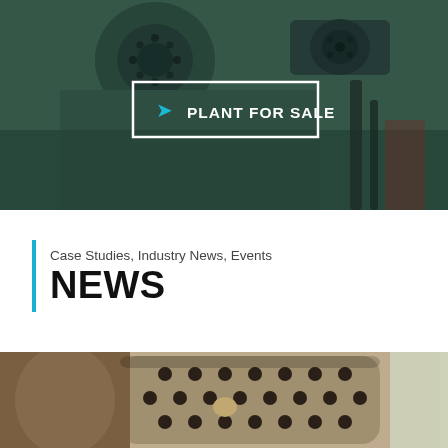[Figure (photo): Industrial plant machinery with green metal housing, motors, and mechanical equipment. Dark overlay applied. Contains a 'Plant For Sale' button overlay with white border and cyan arrow icon.]
Case Studies, Industry News, Events
NEWS
[Figure (photo): Close-up of industrial equipment showing a perforated metal plate with circular holes arranged in a pattern, rusty metal components visible.]